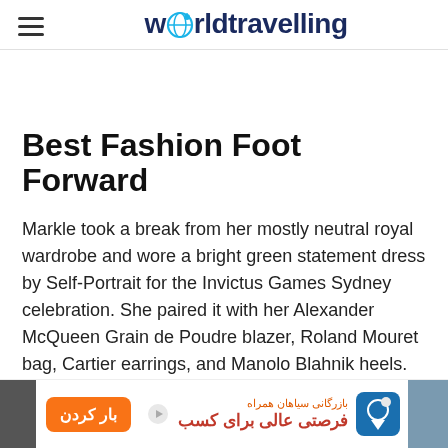worldtravelling
Best Fashion Foot Forward
Markle took a break from her mostly neutral royal wardrobe and wore a bright green statement dress by Self-Portrait for the Invictus Games Sydney celebration. She paired it with her Alexander McQueen Grain de Poudre blazer, Roland Mouret bag, Cartier earrings, and Manolo Blahnik heels.
[Figure (other): Advertisement banner with Persian text and orange button]